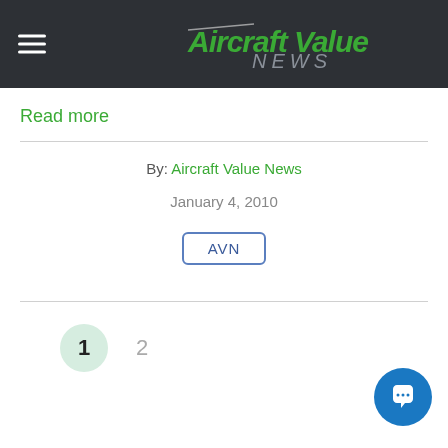Aircraft Value NEWS
Read more
By: Aircraft Value News
January 4, 2010
AVN
1  2